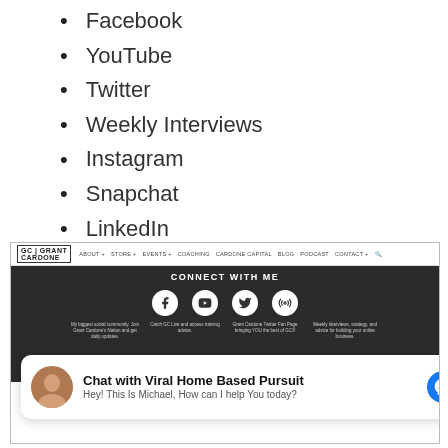Facebook
YouTube
Twitter
Weekly Interviews
Instagram
Snapchat
LinkedIn
[Figure (screenshot): Screenshot of Grant Cardone website showing 'Connect With Me' section with Facebook, YouTube, Twitter, and podcast icons. Overlaid with a Messenger chat widget from 'Viral Home Based Pursuit' with avatar and message 'Hey! This Is Michael, How can I help You today?']